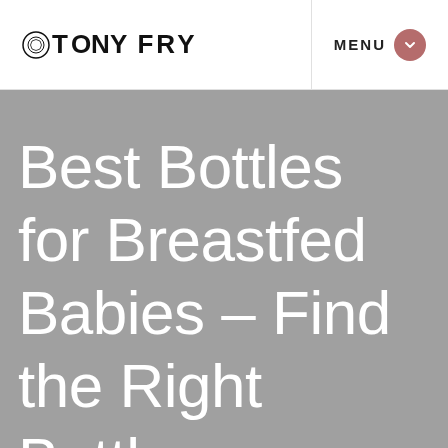TONY FRY | MENU
Best Bottles for Breastfed Babies – Find the Right Bottle